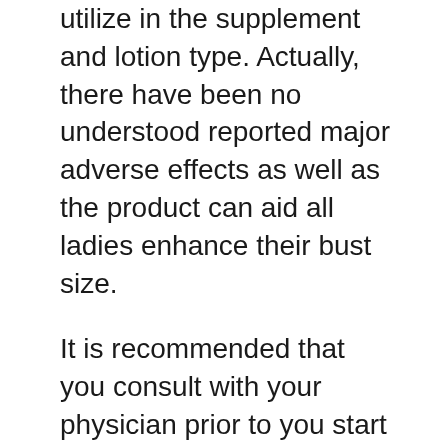utilize in the supplement and lotion type. Actually, there have been no understood reported major adverse effects as well as the product can aid all ladies enhance their bust size.
It is recommended that you consult with your physician prior to you start taking this supplement or using the lotion. Also, you must have a look at the components in both the lotion as well as supplement to guarantee that you are not adverse any one of the active ingredients. While the product itself is risk-free, an allergic reaction can still take place since it is your body denying the component that you have an allergy to.
Ladies under the age of 18 and women who